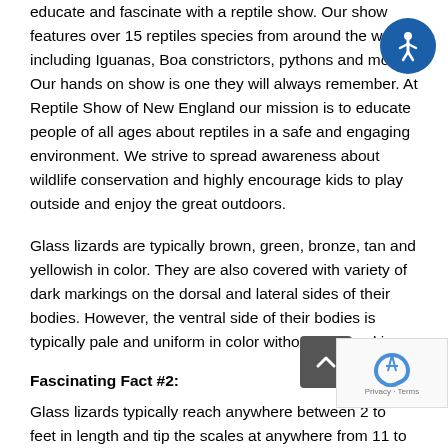educate and fascinate with a reptile show. Our show features over 15 reptiles species from around the world including Iguanas, Boa constrictors, pythons and more. Our hands on show is one they will always remember. At Reptile Show of New England our mission is to educate people of all ages about reptiles in a safe and engaging environment. We strive to spread awareness about wildlife conservation and highly encourage kids to play outside and enjoy the great outdoors.
Glass lizards are typically brown, green, bronze, tan and yellowish in color. They are also covered with variety of dark markings on the dorsal and lateral sides of their bodies. However, the ventral side of their bodies is typically pale and uniform in color without any markings.
Fascinating Fact #2:
Glass lizards typically reach anywhere between 2 to feet in length and tip the scales at anywhere from 11 to